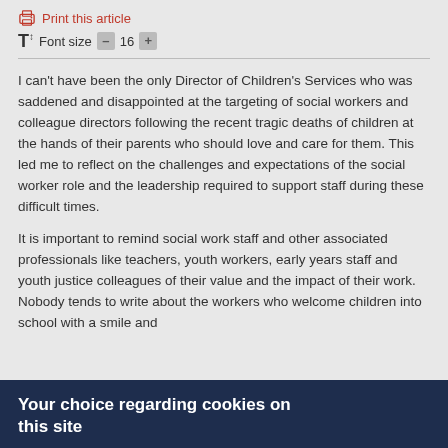Print this article   Font size  –  16  +
I can't have been the only Director of Children's Services who was saddened and disappointed at the targeting of social workers and colleague directors following the recent tragic deaths of children at the hands of their parents who should love and care for them. This led me to reflect on the challenges and expectations of the social worker role and the leadership required to support staff during these difficult times.
It is important to remind social work staff and other associated professionals like teachers, youth workers, early years staff and youth justice colleagues of their value and the impact of their work. Nobody tends to write about the workers who welcome children into school with a smile and
Your choice regarding cookies on this site